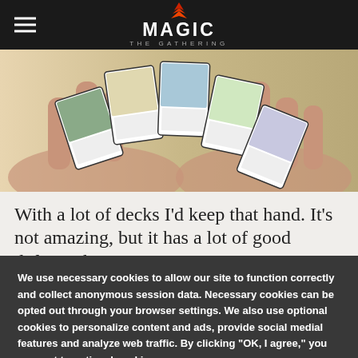MAGIC THE GATHERING
[Figure (photo): Two hands holding and fanning out Magic: The Gathering cards against a light background. Several cards are visible, held between fingers.]
With a lot of decks I'd keep that hand. It's not amazing, but it has a lot of good defense that
We use necessary cookies to allow our site to function correctly and collect anonymous session data. Necessary cookies can be opted out through your browser settings. We also use optional cookies to personalize content and ads, provide social medial features and analyze web traffic. By clicking “OK, I agree,” you consent to optional cookies. (Learn more about cookies.)
OK, I agree   No, thanks